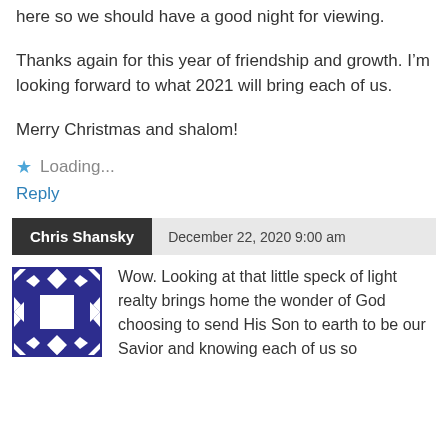here so we should have a good night for viewing.
Thanks again for this year of friendship and growth. I’m looking forward to what 2021 will bring each of us.
Merry Christmas and shalom!
★ Loading...
Reply
Chris Shansky   December 22, 2020 9:00 am
[Figure (illustration): Avatar image: dark blue and white geometric quilt-pattern square icon]
Wow. Looking at that little speck of light realty brings home the wonder of God choosing to send His Son to earth to be our Savior and knowing each of us so